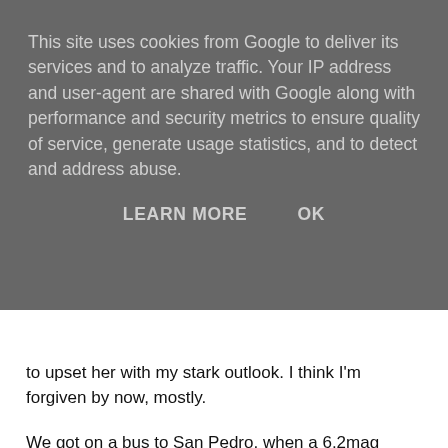This site uses cookies from Google to deliver its services and to analyze traffic. Your IP address and user-agent are shared with Google along with performance and security metrics to ensure quality of service, generate usage statistics, and to detect and address abuse.
LEARN MORE   OK
to upset her with my stark outlook. I think I'm forgiven by now, mostly.
We got on a bus to San Pedro, when a 6.2mag earthquake hit about 40 miles from us, and rocked the bus from side to side. It was quite a welcome to the area. Shaken and a little bit stirred, the bus ride took about 1.5 hours up over the 3500M pass and down into San Pedro, lying about 2400M altitude. Everyone was in various hotels, I didn't have one booked. I paid half of the bill and stayed with James for the first night in his hotel. The next day I moved into the race HQ hotel the Casa de Don Tomas. It's the most basic of the three race hotels, but very convenient as the admin day is held there, and it's closest to town. I went and checked out the hotel that virtually everyone else was in, the Kunzas. It was a